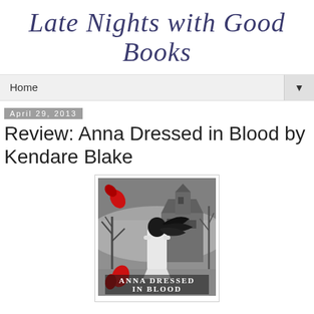Late Nights with Good Books
Home
April 29, 2013
Review: Anna Dressed in Blood by Kendare Blake
[Figure (illustration): Book cover of 'Anna Dressed in Blood' featuring a young woman in a white dress seen from behind, with long black hair blowing, standing before a dark haunted house. Red flower petals scatter the background. The title 'ANNA DRESSED IN BLOOD' appears at the bottom in white serif text on the grayscale cover.]